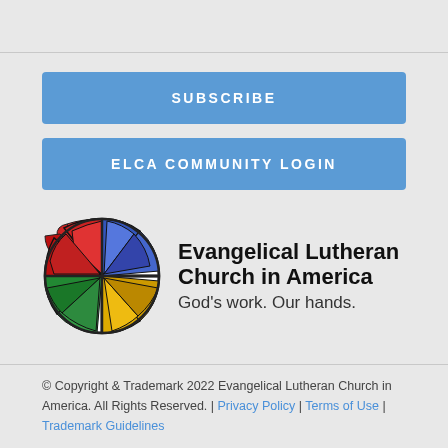SUBSCRIBE
ELCA COMMUNITY LOGIN
[Figure (logo): ELCA circular stained-glass style logo with colored segments (red, blue, green, yellow) divided by a cross, with Evangelical Lutheran Church in America text and tagline God's work. Our hands.]
© Copyright & Trademark 2022 Evangelical Lutheran Church in America. All Rights Reserved. | Privacy Policy | Terms of Use | Trademark Guidelines